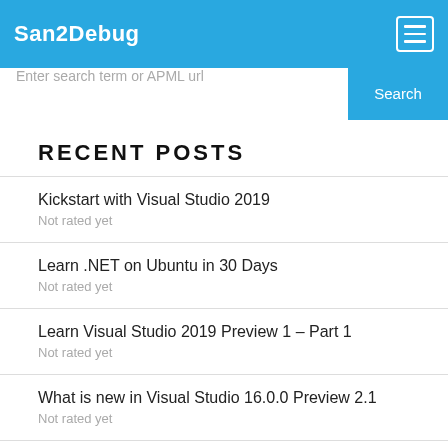San2Debug
Enter search term or APML url
RECENT POSTS
Kickstart with Visual Studio 2019
Not rated yet
Learn .NET on Ubuntu in 30 Days
Not rated yet
Learn Visual Studio 2019 Preview 1 – Part 1
Not rated yet
What is new in Visual Studio 16.0.0 Preview 2.1
Not rated yet
Received Third Time C# Corner MVP Award 2018
Not rated yet